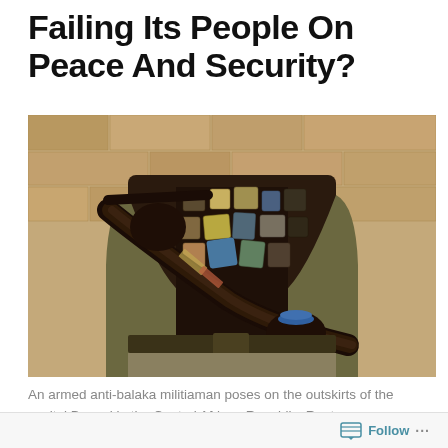Failing Its People On Peace And Security?
[Figure (photo): An armed anti-balaka militiaman holding a rifle decorated with various amulets and charms, photographed from the torso down, standing in front of a stone wall in Bangui, Central African Republic. The person wears a uniform with many leather and fabric pouches attached. Reuters photograph.]
An armed anti-balaka militiaman poses on the outskirts of the capital Bangui in the Central African Republic. Reuters
Follow